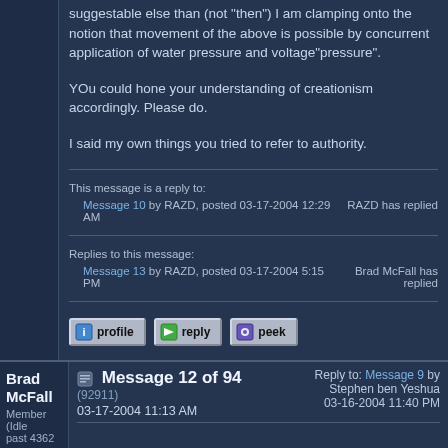suggestable else than (not "then") I am clamping onto the notion that movement of the above is possible by concurrent application of water pressure and voltage"pressure".
YOu could hone your understanding of creationism accordingly. Please do.
I said my own things you tried to refer to authority.
This message is a reply to:
Message 10 by RAZD, posted 03-17-2004 12:29 AM — RAZD has replied
Replies to this message:
Message 13 by RAZD, posted 03-17-2004 5:15 PM — Brad McFall has replied
Message 12 of 94 (92911) 03-17-2004 11:13 AM — Reply to: Message 9 by Stephen ben Yeshua 03-16-2004 11:40 PM
Brad McFall
Member (Idle past 4362